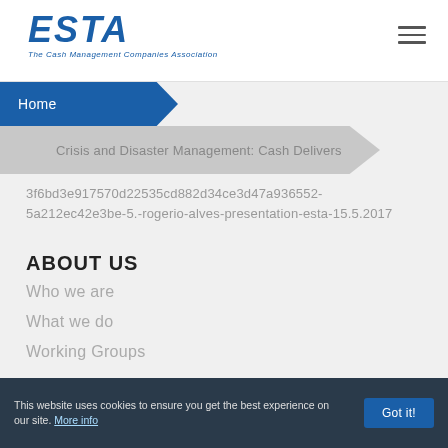ESTA – The Cash Management Companies Association
Home
Crisis and Disaster Management: Cash Delivers
3f6bd3e917570d22535cd882d34ce3d47a936552-5a212ec42e3be-5.-rogerio-alves-presentation-esta-15.5.2017
ABOUT US
Who we are
What we do
Working Groups
MEMBERS
This website uses cookies to ensure you get the best experience on our site. More info   Got it!